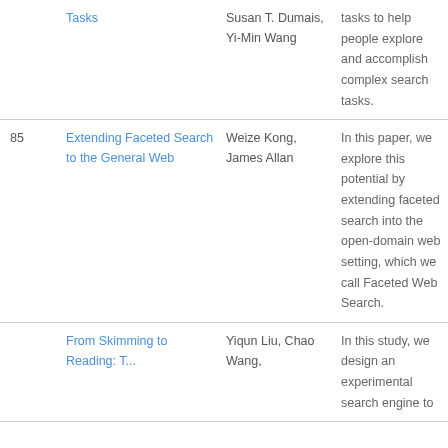| # | Title | Authors | Abstract |
| --- | --- | --- | --- |
|  | Tasks | Susan T. Dumais, Yi-Min Wang | tasks to help people explore and accomplish complex search tasks. |
| 85 | Extending Faceted Search to the General Web | Weize Kong, James Allan | In this paper, we explore this potential by extending faceted search into the open-domain web setting, which we call Faceted Web Search. |
|  | From Skimming to Reading: T... | Yiqun Liu, Chao Wang, | In this study, we design an experimental search engine to |